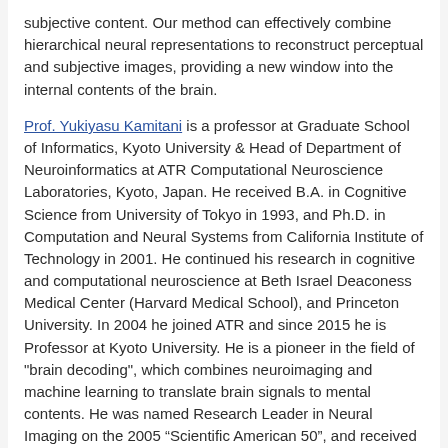subjective content. Our method can effectively combine hierarchical neural representations to reconstruct perceptual and subjective images, providing a new window into the internal contents of the brain.
Prof. Yukiyasu Kamitani is a professor at Graduate School of Informatics, Kyoto University & Head of Department of Neuroinformatics at ATR Computational Neuroscience Laboratories, Kyoto, Japan. He received B.A. in Cognitive Science from University of Tokyo in 1993, and Ph.D. in Computation and Neural Systems from California Institute of Technology in 2001. He continued his research in cognitive and computational neuroscience at Beth Israel Deaconess Medical Center (Harvard Medical School), and Princeton University. In 2004 he joined ATR and since 2015 he is Professor at Kyoto University. He is a pioneer in the field of "brain decoding", which combines neuroimaging and machine learning to translate brain signals to mental contents. He was named Research Leader in Neural Imaging on the 2005 “Scientific American 50”, and received awards including Tsukahara Memorial Award (2013), JSPS Prize (2014), and Osaka Science Prize (2015).